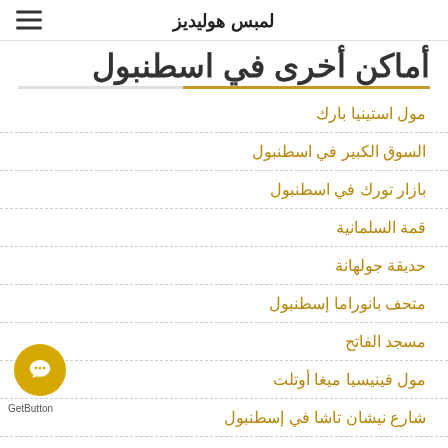لمبس هوليديز
أماكن أخرى في اسطنبول
مول استينيا بارك
السوق الكبير في اسطنبول
بازار تورك في اسطنبول
قمة السلمانية
حديقة جولهانة
متحف بانوراما إسطنبول
مسجد الفاتح
مول فينيسيا ميغا أوتلت
شارع نيشان تاشا في إسطنبول
استئجار سيارات